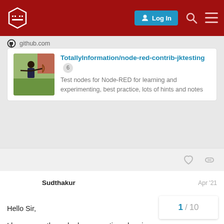Node-RED Forum — Log In
github.com
TotallyInformation/node-red-contrib-jktesting 6
Test nodes for Node-RED for learning and experimenting, best practice, lots of hints and notes
Sudthakur  Apr '21
Hello Sir,
I have gone through above mentioned project in my project. But I am getting invalid Prop
1 / 10